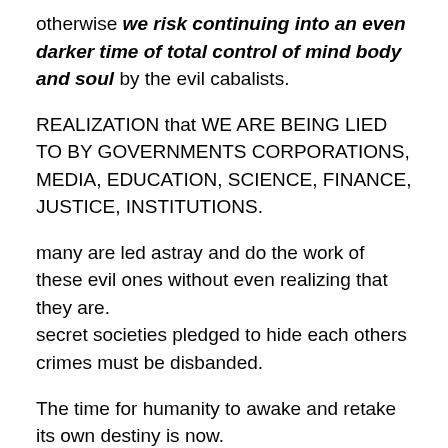otherwise we risk continuing into an even darker time of total control of mind body and soul by the evil cabalists.
REALIZATION that WE ARE BEING LIED TO BY GOVERNMENTS CORPORATIONS, MEDIA, EDUCATION, SCIENCE, FINANCE, JUSTICE, INSTITUTIONS.
many are led astray and do the work of these evil ones without even realizing that they are.
secret societies pledged to hide each others crimes must be disbanded.
The time for humanity to awake and retake its own destiny is now.
We must not allow these opportunities to pass...